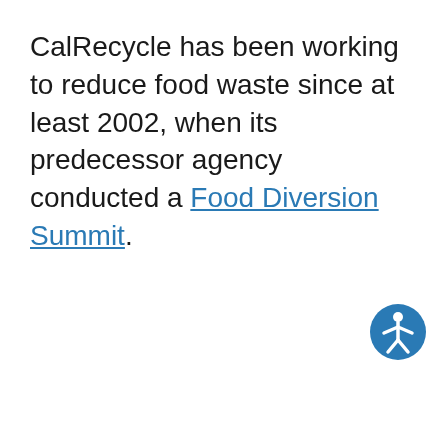CalRecycle has been working to reduce food waste since at least 2002, when its predecessor agency conducted a Food Diversion Summit.
[Figure (illustration): Blue circular accessibility icon showing a white human figure with arms outstretched]